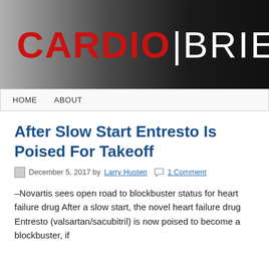[Figure (logo): CardioBrief website banner logo with red CARDIO text and white BRIEF text on dark gradient background with a faint figure image on the right]
HOME   ABOUT
After Slow Start Entresto Is Poised For Takeoff
December 5, 2017 by Larry Husten  1 Comment
–Novartis sees open road to blockbuster status for heart failure drug After a slow start, the novel heart failure drug Entresto (valsartan/sacubitril) is now poised to become a blockbuster, if